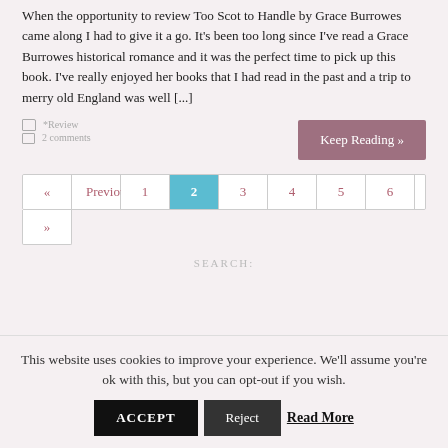When the opportunity to review Too Scot to Handle by Grace Burrowes came along I had to give it a go. It's been too long since I've read a Grace Burrowes historical romance and it was the perfect time to pick up this book. I've really enjoyed her books that I had read in the past and a trip to merry old England was well [...]
*Review
2 comments
Keep Reading »
« Previous 1 2 3 4 5 6 7 Next »
SEARCH:
This website uses cookies to improve your experience. We'll assume you're ok with this, but you can opt-out if you wish.
ACCEPT  Reject  Read More